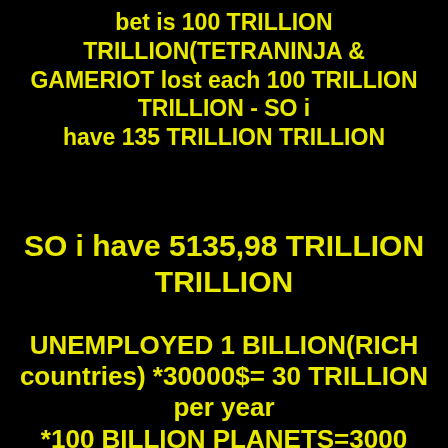bet is 100 TRILLION TRILLION(TETRANINJA & GAMERIOT lost each 100 TRILLION TRILLION - SO i have 135 TRILLION TRILLION
SO i have 5135,98 TRILLION TRILLION
UNEMPLOYED 1 BILLION(RICH countries) *30000$= 30 TRILLION per year *100 BILLION PLANETS=3000 TRILLION TRILLION